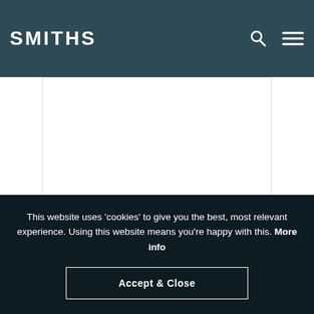SMITHS
[Figure (photo): Product image area for Mini Mini Mk1 Mechanical Oil Pressure Gauge]
Mini Mini Mk1 Mechanical Oil Pressure Gauge 70° sweep
This website uses 'cookies' to give you the best, most relevant experience. Using this website means you're happy with this. More info
Accept & Close